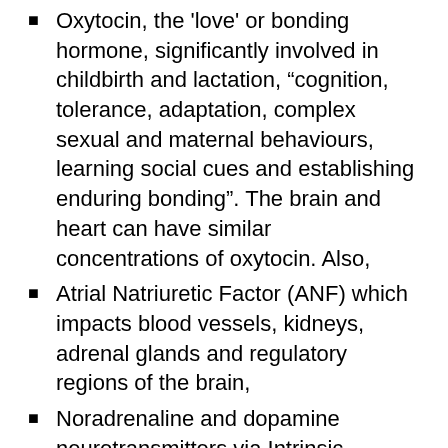Oxytocin, the 'love' or bonding hormone, significantly involved in childbirth and lactation, "cognition, tolerance, adaptation, complex sexual and maternal behaviours, learning social cues and establishing enduring bonding". The brain and heart can have similar concentrations of oxytocin. Also,
Atrial Natriuretic Factor (ANF) which impacts blood vessels, kidneys, adrenal glands and regulatory regions of the brain,
Noradrenaline and dopamine neurotransmitters via Intrinsic Cardiac Adrenergic (ICA) cells, once thought to only be in the CNS. These neurotransmitters are important to pain/reward, mood and other psychological processes as well as many significant physiological processes.
The above information is but a brief look at the scientific basis for demonstrating the body as integrated system for experience, cognition and